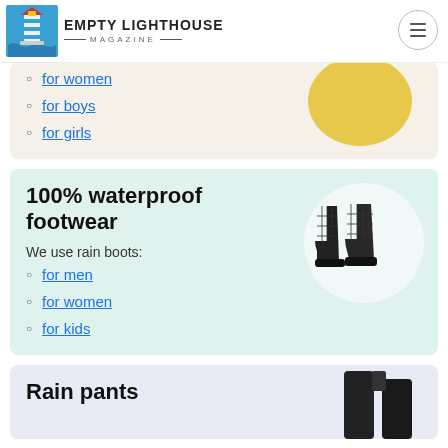EMPTY LIGHTHOUSE MAGAZINE
for women
for boys
for girls
100% waterproof footwear
We use rain boots:
for men
for women
for kids
Rain pants
[Figure (photo): Black quilted rain boots product photo in a circular frame]